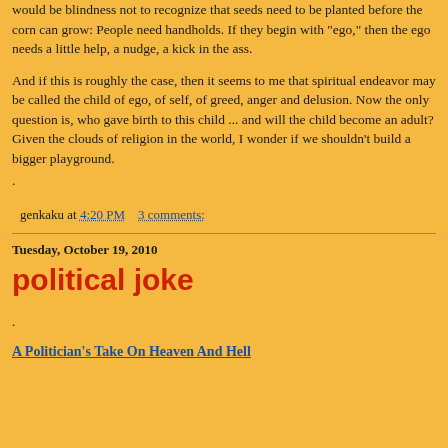would be blindness not to recognize that seeds need to be planted before the corn can grow: People need handholds. If they begin with "ego," then the ego needs a little help, a nudge, a kick in the ass.
And if this is roughly the case, then it seems to me that spiritual endeavor may be called the child of ego, of self, of greed, anger and delusion. Now the only question is, who gave birth to this child ... and will the child become an adult? Given the clouds of religion in the world, I wonder if we shouldn't build a bigger playground.
.
genkaku at 4:20 PM    3 comments:
Tuesday, October 19, 2010
political joke
.
A Politician's Take On Heaven And Hell